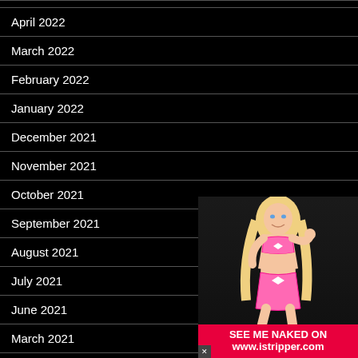April 2022
March 2022
February 2022
January 2022
December 2021
November 2021
October 2021
September 2021
August 2021
July 2021
June 2021
March 2021
[Figure (photo): Blonde woman in pink lingerie with advertisement banner for istripper.com]